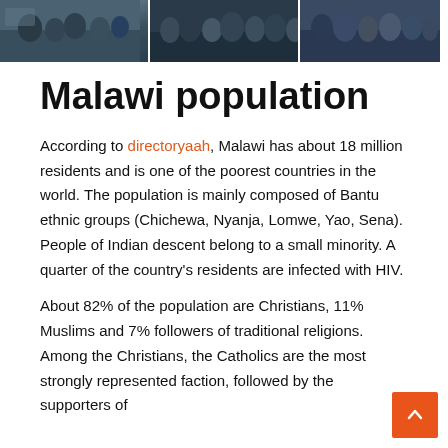[Figure (photo): Three side-by-side photos of crowds of people in Malawi]
Malawi population
According to directoryaah, Malawi has about 18 million residents and is one of the poorest countries in the world. The population is mainly composed of Bantu ethnic groups (Chichewa, Nyanja, Lomwe, Yao, Sena). People of Indian descent belong to a small minority. A quarter of the country's residents are infected with HIV.
About 82% of the population are Christians, 11% Muslims and 7% followers of traditional religions. Among the Christians, the Catholics are the most strongly represented faction, followed by the supporters of